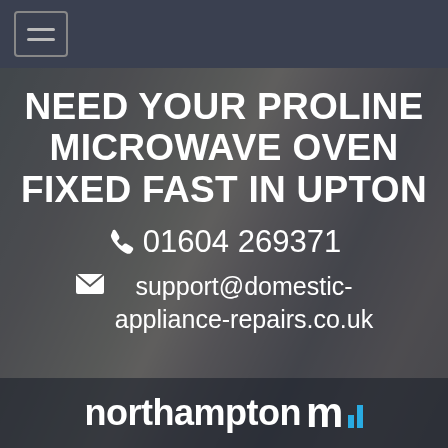[Figure (screenshot): Navigation bar with hamburger menu icon on dark background]
NEED YOUR PROLINE MICROWAVE OVEN FIXED FAST IN UPTON
📞 01604 269371
✉ support@domestic-appliance-repairs.co.uk
[Figure (logo): northampton M logo in white with blue bars accent at bottom of page]